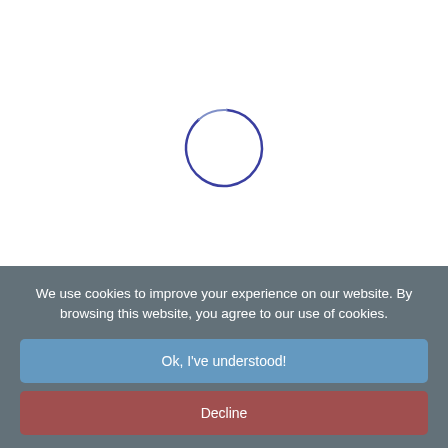[Figure (other): Loading spinner — a circular arc in dark blue/navy, partially complete, suggesting a page or content is still loading. White background.]
We use cookies to improve your experience on our website. By browsing this website, you agree to our use of cookies.
Ok, I've understood!
Decline